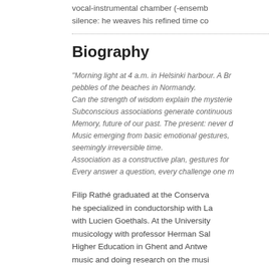vocal-instrumental chamber (-ensemble silence: he weaves his refined time co...
Biography
"Morning light at 4 a.m. in Helsinki harbour. A Br... pebbles of the beaches in Normandy.
Can the strength of wisdom explain the mysterie...
Subconscious associations generate continuous...
Memory, future of our past. The present: never d...
Music emerging from basic emotional gestures, seemingly irreversible time.
Association as a constructive plan, gestures for...
Every answer a question, every challenge one m...
Filip Rathé graduated at the Conserva... he specialized in conductorship with La... with Lucien Goethals. At the University musicology with professor Herman Sal... Higher Education in Ghent and Antwen... music and doing research on the musi... directed the contemporary music choir of the SPECTRA Ensemble with which... America premiering over 60 new comp... Symphony Orchestra of Flanders, the... several contemporary music ensemble...